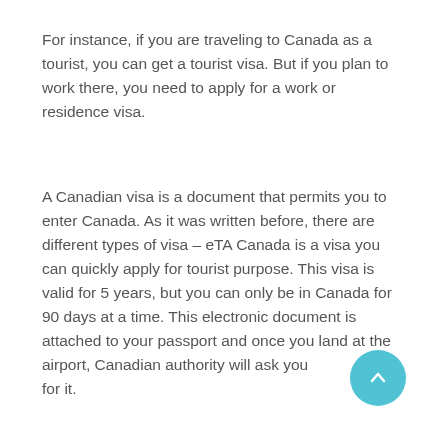For instance, if you are traveling to Canada as a tourist, you can get a tourist visa. But if you plan to work there, you need to apply for a work or residence visa.
A Canadian visa is a document that permits you to enter Canada. As it was written before, there are different types of visa – eTA Canada is a visa you can quickly apply for tourist purpose. This visa is valid for 5 years, but you can only be in Canada for 90 days at a time. This electronic document is attached to your passport and once you land at the airport, Canadian authority will ask you for it.